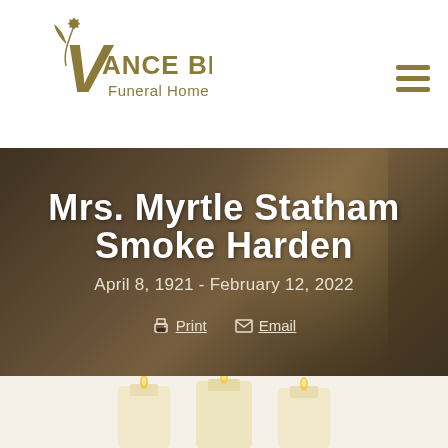[Figure (logo): Vance Brooks Funeral Home logo with stylized plant/flower motif]
Mrs. Myrtle Statham Smoke Harden
April 8, 1921 - February 12, 2022
Print   Email
[Figure (photo): Lit candles photographed from above, warm golden tones on white background]